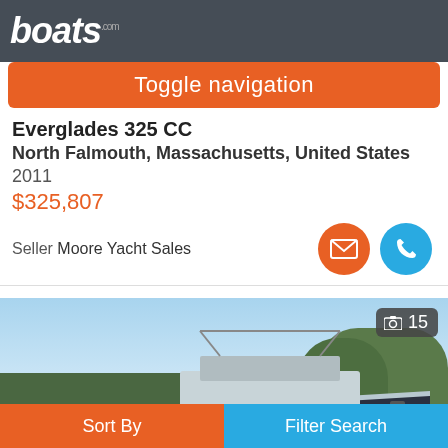boats.com
Toggle navigation
Everglades 325 CC
North Falmouth, Massachusetts, United States
2011
$325,807
Seller Moore Yacht Sales
[Figure (photo): Photo of Everglades 325 CC boat named Sea Wizard with custom hull artwork, shown on trailer with trees in background. Photo count badge showing 15 photos.]
Sort By
Filter Search